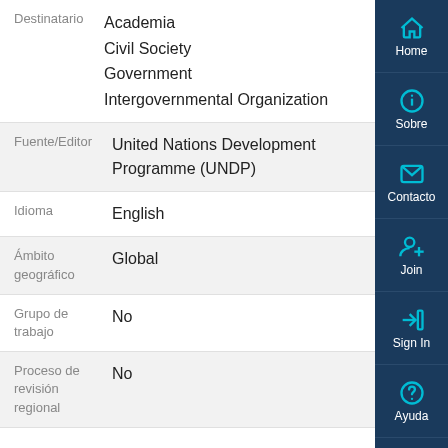Destinatario: Academia, Civil Society, Government, Intergovernmental Organization
Fuente/Editor: United Nations Development Programme (UNDP)
Idioma: English
Ámbito geográfico: Global
Grupo de trabajo: No
Proceso de revisión regional: No